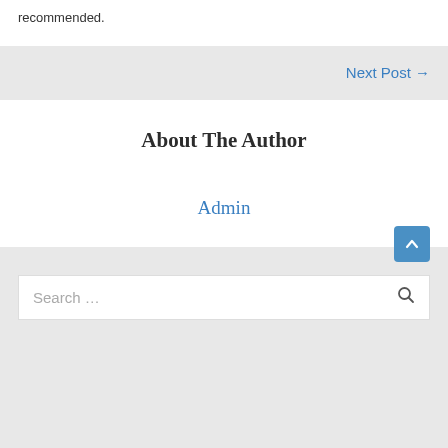recommended.
Next Post →
About The Author
Admin
Search …